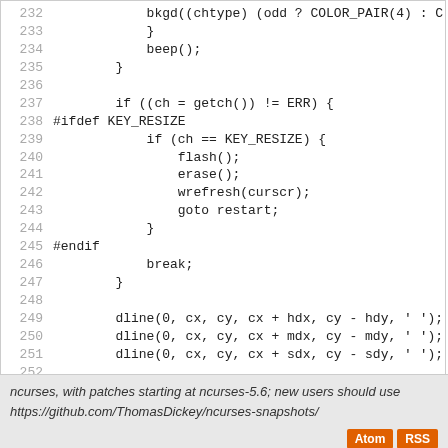[Figure (screenshot): Source code listing lines 232-258 of a C program using ncurses, showing key handling logic with #ifdef KEY_RESIZE block, dline calls, and program exit.]
ncurses, with patches starting at ncurses-5.6; new users should use https://github.com/ThomasDickey/ncurses-snapshots/